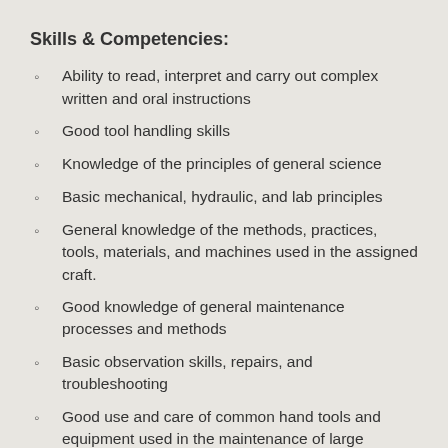Skills & Competencies:
Ability to read, interpret and carry out complex written and oral instructions
Good tool handling skills
Knowledge of the principles of general science
Basic mechanical, hydraulic, and lab principles
General knowledge of the methods, practices, tools, materials, and machines used in the assigned craft.
Good knowledge of general maintenance processes and methods
Basic observation skills, repairs, and troubleshooting
Good use and care of common hand tools and equipment used in the maintenance of large